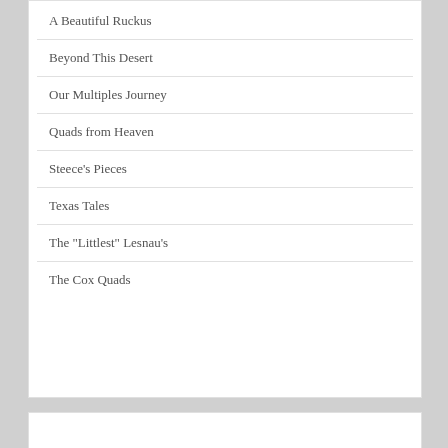A Beautiful Ruckus
Beyond This Desert
Our Multiples Journey
Quads from Heaven
Steece's Pieces
Texas Tales
The "Littlest" Lesnau's
The Cox Quads